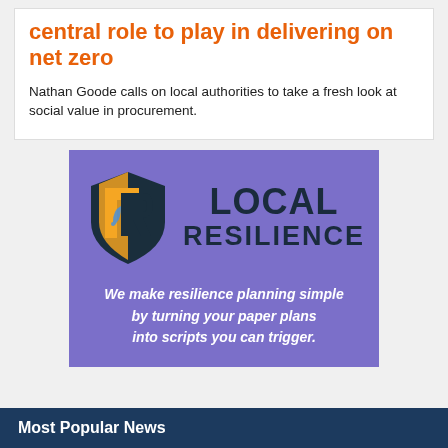central role to play in delivering on net zero
Nathan Goode calls on local authorities to take a fresh look at social value in procurement.
[Figure (logo): Local Resilience logo with shield icon and tagline: We make resilience planning simple by turning your paper plans into scripts you can trigger.]
Most Popular News